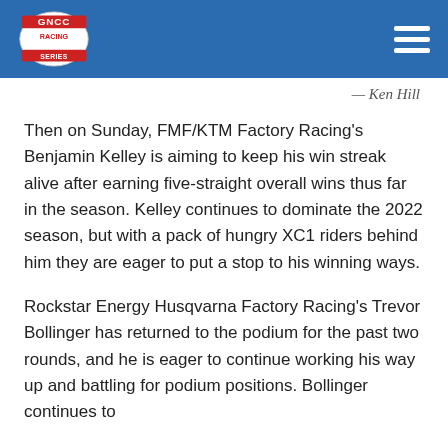GNCC Racing
— Ken Hill
Then on Sunday, FMF/KTM Factory Racing's Benjamin Kelley is aiming to keep his win streak alive after earning five-straight overall wins thus far in the season. Kelley continues to dominate the 2022 season, but with a pack of hungry XC1 riders behind him they are eager to put a stop to his winning ways.
Rockstar Energy Husqvarna Factory Racing's Trevor Bollinger has returned to the podium for the past two rounds, and he is eager to continue working his way up and battling for podium positions. Bollinger continues to